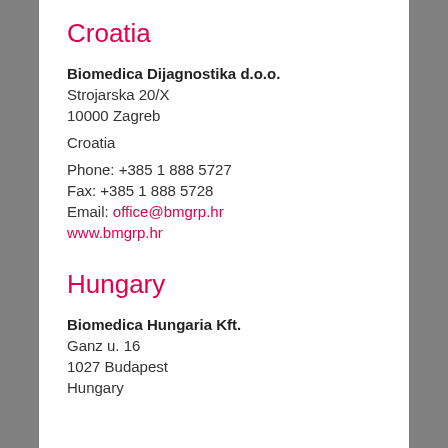Croatia
Biomedica Dijagnostika d.o.o.
Strojarska 20/X
10000 Zagreb
Croatia
Phone: +385 1 888 5727
Fax: +385 1 888 5728
Email: office@bmgrp.hr
www.bmgrp.hr
Hungary
Biomedica Hungaria Kft.
Ganz u. 16
1027 Budapest
Hungary